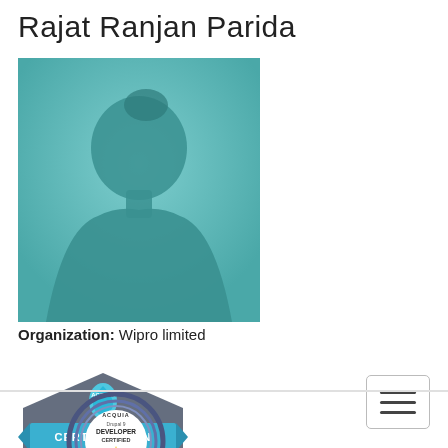Rajat Ranjan Parida
[Figure (photo): Generic silhouette profile photo placeholder with teal/blue-green gradient background]
Organization: Wipro limited
[Figure (logo): Acquia Certification badge - blue diamond/shield shape with water drop logo and CERTIFICATION text]
[Figure (logo): Hamburger menu button - three horizontal lines in a rounded rectangle border]
[Figure (logo): Acquia Drupal 9 Developer Certified badge - circular badge with concentric dark blue rings, gold star, text: ACQUIA, Drupal 9, DEVELOPER, CERTIFIED]